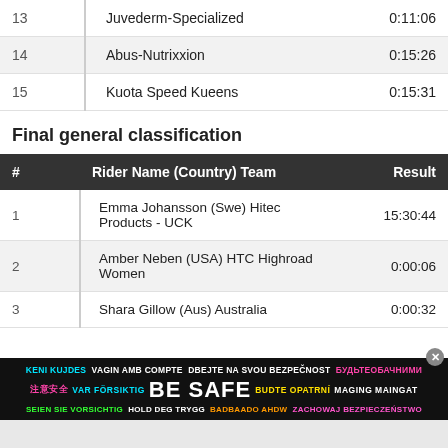| # | Team | Result |
| --- | --- | --- |
| 13 | Juvederm-Specialized | 0:11:06 |
| 14 | Abus-Nutrixxion | 0:15:26 |
| 15 | Kuota Speed Kueens | 0:15:31 |
Final general classification
| # | Rider Name (Country) Team | Result |
| --- | --- | --- |
| 1 | Emma Johansson (Swe) Hitec Products - UCK | 15:30:44 |
| 2 | Amber Neben (USA) HTC Highroad Women | 0:00:06 |
| 3 | Shara Gillow (Aus) Australia | 0:00:32 |